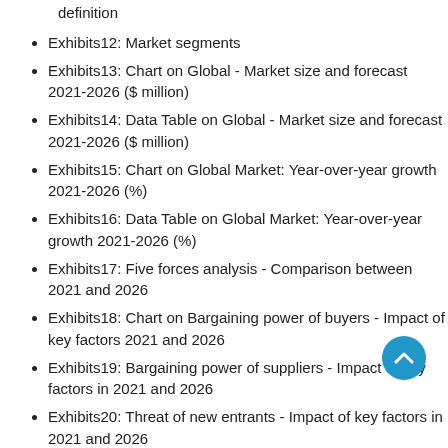definition
Exhibits12: Market segments
Exhibits13: Chart on Global - Market size and forecast 2021-2026 ($ million)
Exhibits14: Data Table on Global - Market size and forecast 2021-2026 ($ million)
Exhibits15: Chart on Global Market: Year-over-year growth 2021-2026 (%)
Exhibits16: Data Table on Global Market: Year-over-year growth 2021-2026 (%)
Exhibits17: Five forces analysis - Comparison between 2021 and 2026
Exhibits18: Chart on Bargaining power of buyers - Impact of key factors 2021 and 2026
Exhibits19: Bargaining power of suppliers - Impact of key factors in 2021 and 2026
Exhibits20: Threat of new entrants - Impact of key factors in 2021 and 2026
Exhibits21: Threat of substitutes - Impact of key factors in 2021 and 2026